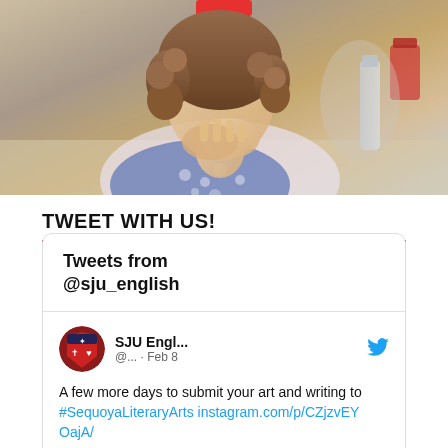[Figure (photo): Photo of a person with curly hair, close-up, with hands near face, crafting or writing activity]
TWEET WITH US!
[Figure (screenshot): Twitter/X widget showing tweets from @sju_english. Tweet by SJU Engl... dated Feb 8: A few more days to submit your art and writing to #SequoyaLiteraryArts instagram.com/p/CZjzvEYOajA/]